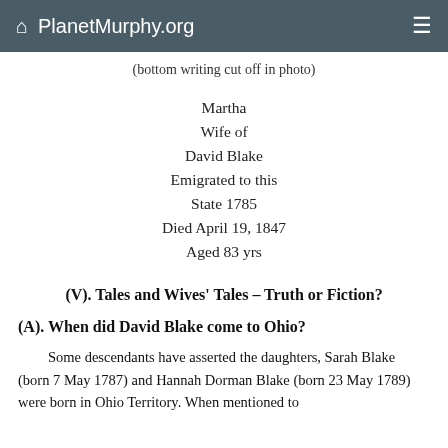PlanetMurphy.org
(bottom writing cut off in photo)
Martha
Wife of
David Blake
Emigrated to this
State 1785
Died April 19, 1847
Aged 83 yrs
(V). Tales and Wives' Tales – Truth or Fiction?
(A). When did David Blake come to Ohio?
Some descendants have asserted the daughters, Sarah Blake (born 7 May 1787) and Hannah Dorman Blake (born 23 May 1789) were born in Ohio Territory. When mentioned to